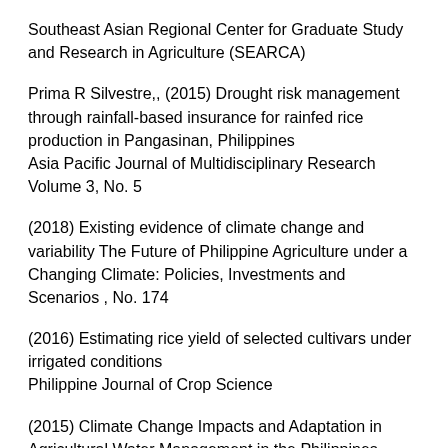Southeast Asian Regional Center for Graduate Study and Research in Agriculture (SEARCA)
Prima R Silvestre,, (2015) Drought risk management through rainfall-based insurance for rainfed rice production in Pangasinan, Philippines
Asia Pacific Journal of Multidisciplinary Research Volume 3, No. 5
(2018) Existing evidence of climate change and variability The Future of Philippine Agriculture under a Changing Climate: Policies, Investments and Scenarios , No. 174
(2016) Estimating rice yield of selected cultivars under irrigated conditions
Philippine Journal of Crop Science
(2015) Climate Change Impacts and Adaptation in Agricultural Water Management in the Philippines